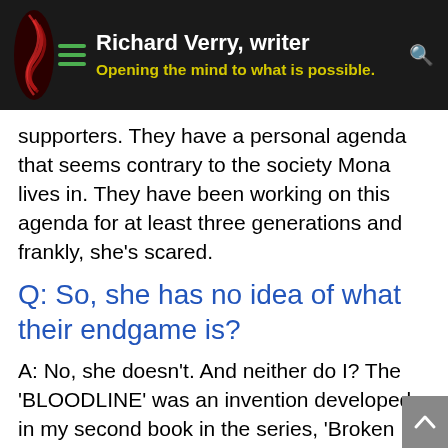Richard Verry, writer — Opening the mind to what is possible.
supporters. They have a personal agenda that seems contrary to the society Mona lives in. They have been working on this agenda for at least three generations and frankly, she's scared.
Q: So, she has no idea of what their endgame is?
A: No, she doesn't. And neither do I? The 'BLOODLINE' was an invention developed in my second book in the series, 'Broken Steele' to explain tainted meat and the widespread the effects it had on a significant portion of the society.